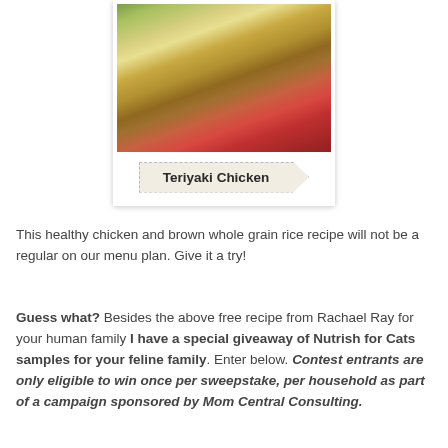[Figure (photo): Photo of Teriyaki Chicken dish with brown rice and green vegetables on a white plate, displayed as a polaroid-style card with a banner label reading 'Teriyaki Chicken']
This healthy chicken and brown whole grain rice recipe will not be a regular on our menu plan. Give it a try!
Guess what? Besides the above free recipe from Rachael Ray for your human family I have a special giveaway of Nutrish for Cats samples for your feline family. Enter below. Contest entrants are only eligible to win once per sweepstake, per household as part of a campaign sponsored by Mom Central Consulting.